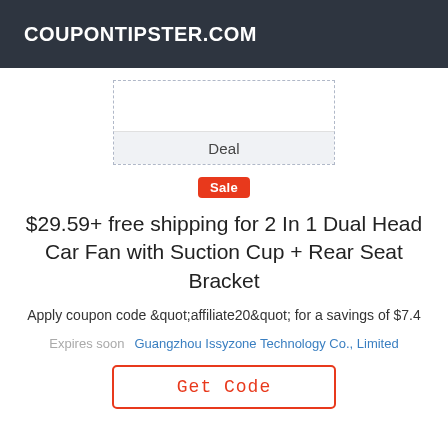COUPONTIPSTER.COM
Deal
Sale
$29.59+ free shipping for 2 In 1 Dual Head Car Fan with Suction Cup + Rear Seat Bracket
Apply coupon code &quot;affiliate20&quot; for a savings of $7.4
Expires soon   Guangzhou Issyzone Technology Co., Limited
Get Code